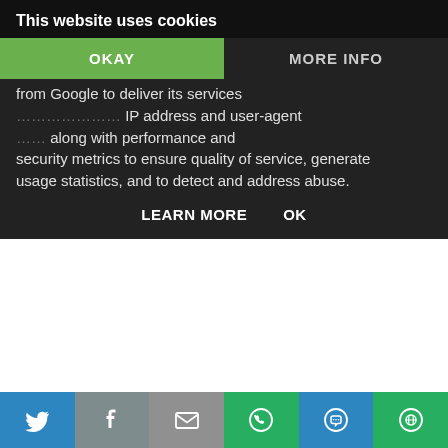This website uses cookies
OKAY
MORE INFO
security metrics to ensure quality of service, generate usage statistics, and to detect and address abuse.
LEARN MORE    OK
Janice Mackin  27 September 2013 at 21:52
Chocolate
Reply
Danielle Graves  27 September 2013 at 22:46
butternut squash risotto - pure stodgy comfort food
Reply
[Figure (screenshot): Social share bar with Twitter, Facebook, Email, WhatsApp, SMS, and other share icons]